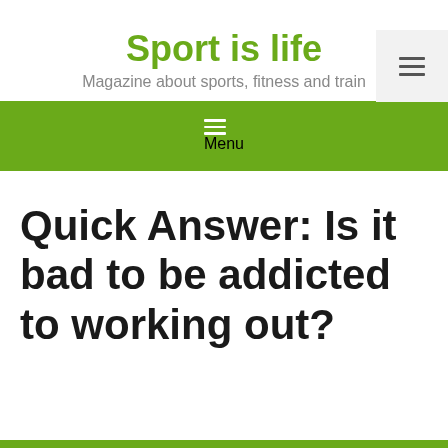Sport is life
Magazine about sports, fitness and train
≡ Menu
Quick Answer: Is it bad to be addicted to working out?